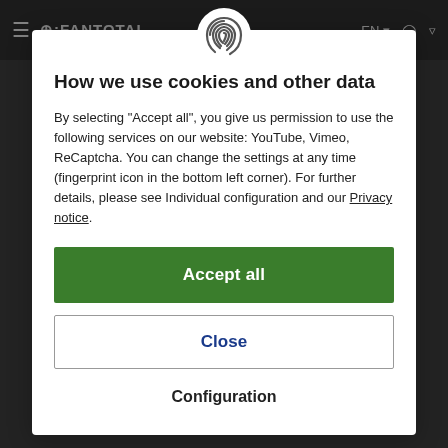FANTOTAL — EN  [user icon] [cart icon]
How we use cookies and other data
By selecting "Accept all", you give us permission to use the following services on our website: YouTube, Vimeo, ReCaptcha. You can change the settings at any time (fingerprint icon in the bottom left corner). For further details, please see Individual configuration and our Privacy notice.
Accept all
Close
Configuration